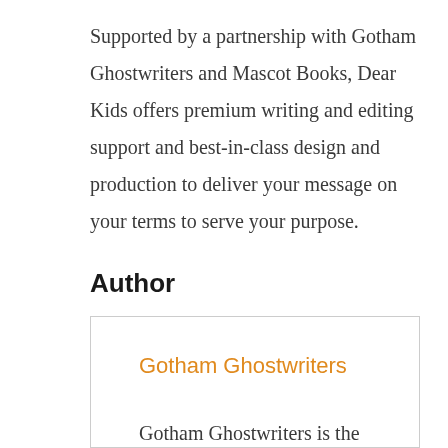Supported by a partnership with Gotham Ghostwriters and Mascot Books, Dear Kids offers premium writing and editing support and best-in-class design and production to deliver your message on your terms to serve your purpose.
Author
Gotham Ghostwriters
Gotham Ghostwriters is the nation's premier ghostwriting agency.